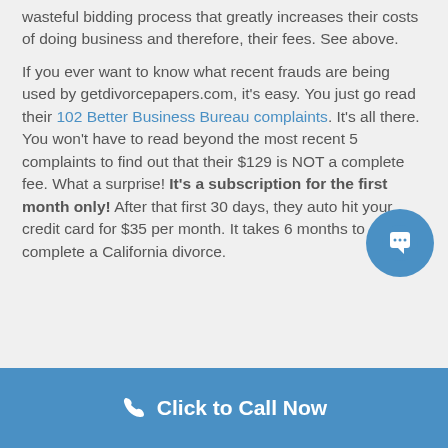wasteful bidding process that greatly increases their costs of doing business and therefore, their fees. See above.
If you ever want to know what recent frauds are being used by getdivorcepapers.com, it's easy. You just go read their 102 Better Business Bureau complaints. It's all there. You won't have to read beyond the most recent 5 complaints to find out that their $129 is NOT a complete fee. What a surprise! It's a subscription for the first month only! After that first 30 days, they auto hit your credit card for $35 per month. It takes 6 months to complete a California divorce.
Click to Call Now